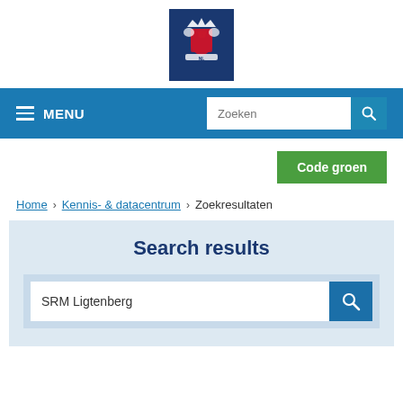[Figure (logo): Dutch government coat of arms logo on dark blue background]
MENU | Zoeken (search bar)
Code groen
Home > Kennis- & datacentrum > Zoekresultaten
Search results
SRM Ligtenberg